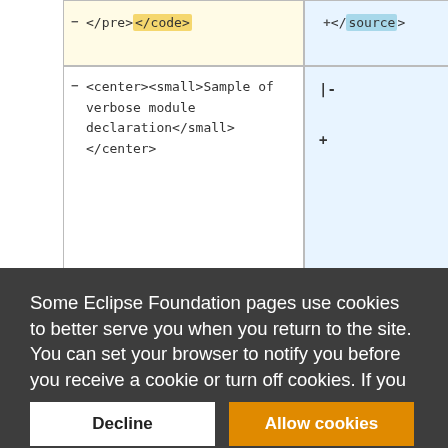[Figure (screenshot): A diff/compare table view showing code changes. Left column shows removed line '</pre></code>' highlighted in yellow, right column shows added line '</source>' highlighted in blue. Second row shows left cell with '<center><small>Sample of verbose module declaration</small></center>' and right cell with '|-' and '+' symbols.]
Some Eclipse Foundation pages use cookies to better serve you when you return to the site. You can set your browser to notify you before you receive a cookie or turn off cookies. If you do so, however, some areas of some sites may not function properly. To read Eclipse Foundation Privacy Policy click here.
Decline
Allow cookies